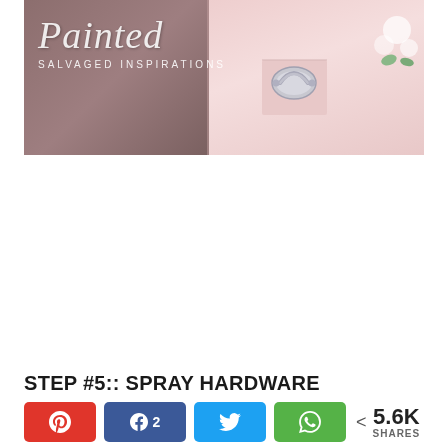[Figure (photo): Hero image of a painted dresser/furniture piece. Left portion shows a mauve/taupe background with cursive script 'Painted' and text 'SALVAGED INSPIRATIONS' below. Right portion shows a pink painted dresser drawer with a silver metallic drawer pull hardware and white floral arrangement in background.]
STEP #5:: SPRAY HARDWARE
[Figure (infographic): Social share bar with four colored buttons: Pinterest (red with P icon), Facebook (blue with f icon and number 2), Twitter (blue with bird icon), WhatsApp (green with phone icon), and a share count showing < 5.6K SHARES]